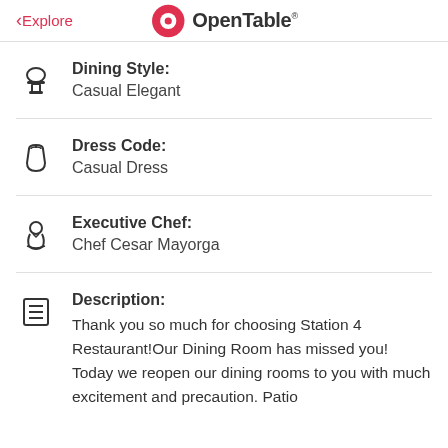< Explore   OpenTable
Dining Style: Casual Elegant
Dress Code: Casual Dress
Executive Chef: Chef Cesar Mayorga
Description: Thank you so much for choosing Station 4 Restaurant!Our Dining Room has missed you! Today we reopen our dining rooms to you with much excitement and precaution. Patio